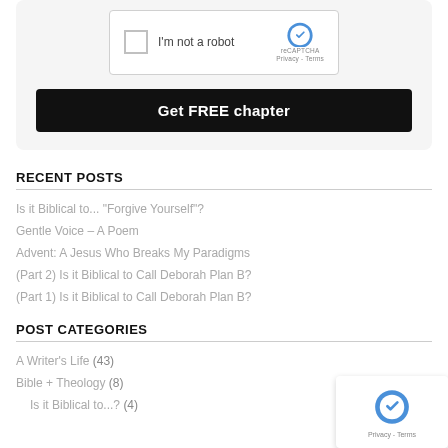[Figure (screenshot): reCAPTCHA widget with checkbox and 'I'm not a robot' label, reCAPTCHA logo]
Get FREE chapter
RECENT POSTS
Is it Biblical to... "Forgive Yourself"?
Gentle Voice – A Poem
Advent: A Jesus Who Breaks My Paradigms
(Part 2) Is it Biblical to Call Deborah Plan B?
(Part 1) Is it Biblical to Call Deborah Plan B?
POST CATEGORIES
A Writer's Life (43)
Bible + Theology (8)
Is it Biblical to...? (4)
[Figure (screenshot): reCAPTCHA logo overlay widget in bottom right corner, showing Privacy - Terms text]